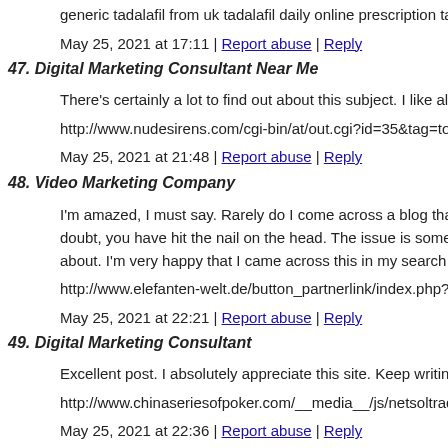generic tadalafil from uk tadalafil daily online prescription tad
May 25, 2021 at 17:11 | Report abuse | Reply
47. Digital Marketing Consultant Near Me
There's certainly a lot to find out about this subject. I like all th
http://www.nudesirens.com/cgi-bin/at/out.cgi?id=35&tag=topl
May 25, 2021 at 21:48 | Report abuse | Reply
48. Video Marketing Company
I'm amazed, I must say. Rarely do I come across a blog that's b doubt, you have hit the nail on the head. The issue is somethin about. I'm very happy that I came across this in my search for s
http://www.elefanten-welt.de/button_partnerlink/index.php?ur
May 25, 2021 at 22:21 | Report abuse | Reply
49. Digital Marketing Consultant
Excellent post. I absolutely appreciate this site. Keep writing!
http://www.chinaseriesofpoker.com/__media__/js/netsoltraden
May 25, 2021 at 22:36 | Report abuse | Reply